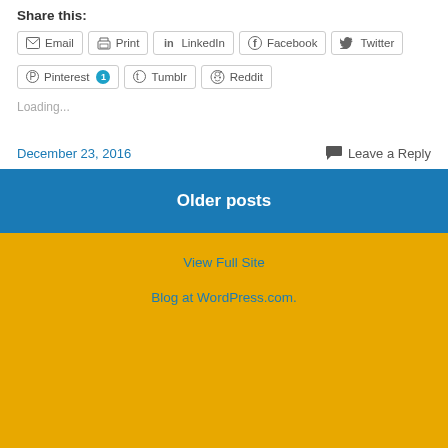Share this:
Email | Print | LinkedIn | Facebook | Twitter | Pinterest 1 | Tumblr | Reddit
Loading...
December 23, 2016
Leave a Reply
Older posts
View Full Site
Blog at WordPress.com.